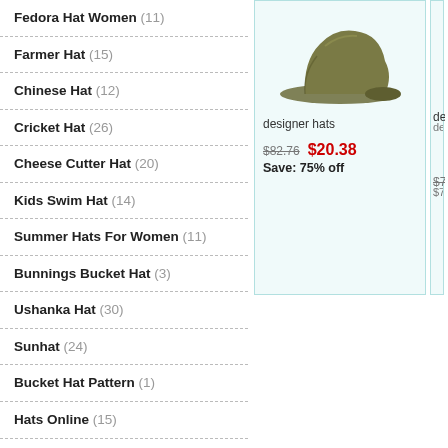Fedora Hat Women (11)
Farmer Hat (15)
Chinese Hat (12)
Cricket Hat (26)
Cheese Cutter Hat (20)
Kids Swim Hat (14)
Summer Hats For Women (11)
Bunnings Bucket Hat (3)
Ushanka Hat (30)
Sunhat (24)
Bucket Hat Pattern (1)
Hats Online (15)
Straw Cowboy Hats (28)
Hat Cap (18)
Akubra Hats Perth (18)
Leather Hat (26)
[Figure (photo): Product photo of a hat (olive/green color) shown from side angle]
designer hats
$82.76  $20.38
Save: 75% off
desig